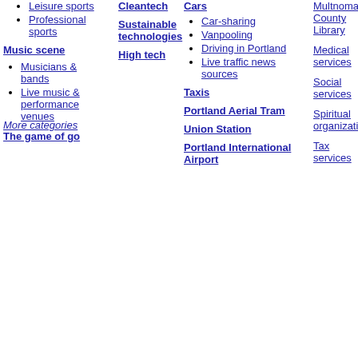Leisure sports
Professional sports
Music scene
Musicians & bands
Live music & performance venues
The game of go
Cleantech
Sustainable technologies
High tech
Cars
Car-sharing
Vanpooling
Driving in Portland
Live traffic news sources
Taxis
Portland Aerial Tram
Union Station
Portland International Airport
Multnomah County Library
Medical services
Social services
Spiritual organizations
Tax services
More categories